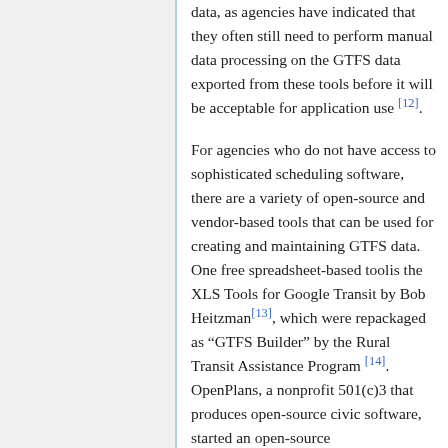data, as agencies have indicated that they often still need to perform manual data processing on the GTFS data exported from these tools before it will be acceptable for application use [12].
For agencies who do not have access to sophisticated scheduling software, there are a variety of open-source and vendor-based tools that can be used for creating and maintaining GTFS data. One free spreadsheet-based toolis the XLS Tools for Google Transit by Bob Heitzman[13], which were repackaged as “GTFS Builder” by the Rural Transit Assistance Program [14]. OpenPlans, a nonprofit 501(c)3 that produces open-source civic software, started an open-source